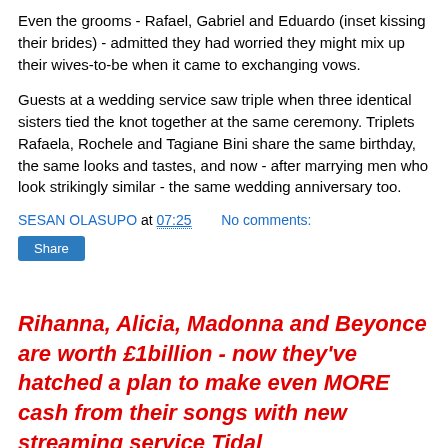Even the grooms - Rafael, Gabriel and Eduardo (inset kissing their brides) - admitted they had worried they might mix up their wives-to-be when it came to exchanging vows.
Guests at a wedding service saw triple when three identical sisters tied the knot together at the same ceremony. Triplets Rafaela, Rochele and Tagiane Bini share the same birthday, the same looks and tastes, and now - after marrying men who look strikingly similar - the same wedding anniversary too.
SESAN OLASUPO at 07:25   No comments:
Share
Rihanna, Alicia, Madonna and Beyonce are worth £1billion - now they've hatched a plan to make even MORE cash from their songs with new streaming service Tidal